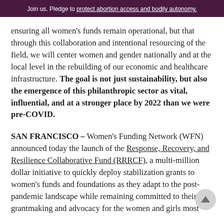Join us. Pledge to protect abortion access and bodily autonomy.
ensuring all women's funds remain operational, but that through this collaboration and intentional resourcing of the field, we will center women and gender nationally and at the local level in the rebuilding of our economic and healthcare infrastructure. The goal is not just sustainability, but also the emergence of this philanthropic sector as vital, influential, and at a stronger place by 2022 than we were pre-COVID.
SAN FRANCISCO – Women's Funding Network (WFN) announced today the launch of the Response, Recovery, and Resilience Collaborative Fund (RRRCF), a multi-million dollar initiative to quickly deploy stabilization grants to women's funds and foundations as they adapt to the post-pandemic landscape while remaining committed to their grantmaking and advocacy for the women and girls most